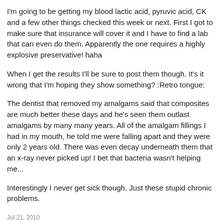I'm going to be getting my blood lactic acid, pyruvic acid, CK and a few other things checked this week or next. First I got to make sure that insurance will cover it and I have to find a lab that can even do them. Apparently the one requires a highly explosive preservative! haha
When I get the results I'll be sure to post them though. It's it wrong that I'm hoping they show something? :Retro tongue:
The dentist that removed my amalgams said that composites are much better these days and he's seen them outlast amalgams by many many years. All of the amalgam fillings I had in my mouth, he told me were falling apart and they were only 2 years old. There was even decay underneath them that an x-ray never picked up! I bet that bacteria wasn't helping me...
Interestingly I never get sick though. Just these stupid chronic problems.
Jul 21, 2010